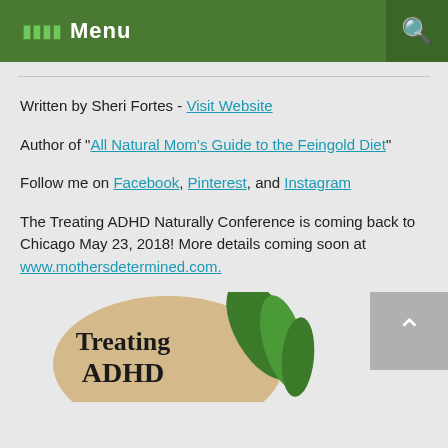Menu
Written by Sheri Fortes - Visit Website
Author of "All Natural Mom's Guide to the Feingold Diet"
Follow me on Facebook, Pinterest, and Instagram
The Treating ADHD Naturally Conference is coming back to Chicago May 23, 2018! More details coming soon at www.mothersdetermined.com.
[Figure (logo): Treating ADHD Naturally conference logo with tan circular background and green leaf decoration]